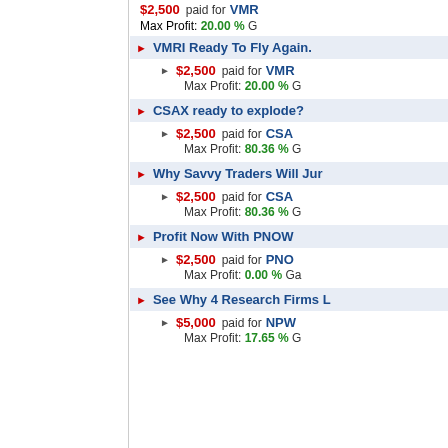VMRI Ready To Fly Again.
$2,500 paid for VMR | Max Profit: 20.00 %
CSAX ready to explode?
$2,500 paid for CSAX | Max Profit: 80.36 %
Why Savvy Traders Will Jum...
$2,500 paid for CSAX | Max Profit: 80.36 %
Profit Now With PNOW
$2,500 paid for PNOW | Max Profit: 0.00 %
See Why 4 Research Firms L...
$5,000 paid for NPW | Max Profit: 17.65 %